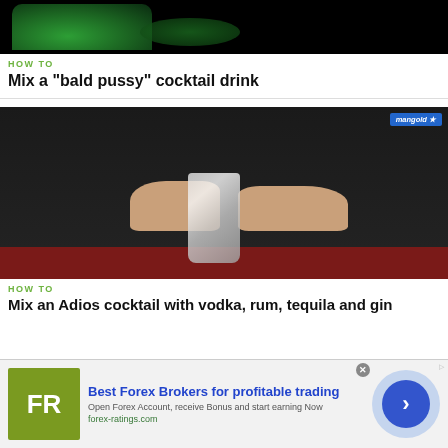[Figure (screenshot): Video thumbnail showing green glass/drink on black background]
HOW TO
Mix a "bald pussy" cocktail drink
[Figure (screenshot): Video thumbnail showing bartender with crystal glass on red table, Mangold logo in top right]
HOW TO
Mix an Adios cocktail with vodka, rum, tequila and gin
[Figure (infographic): Advertisement for Best Forex Brokers with FR logo, arrow button, and text about forex trading]